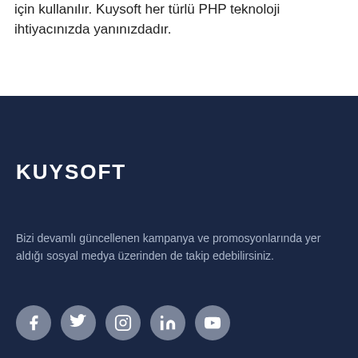için kullanılır. Kuysoft her türlü PHP teknoloji ihtiyacınızda yanınızdadır.
KUYSOFT
Bizi devamlı güncellenen kampanya ve promosyonlarında yer aldığı sosyal medya üzerinden de takip edebilirsiniz.
[Figure (illustration): Social media icons row: Facebook, Twitter, Instagram, LinkedIn, YouTube — circular grey buttons with white icons]